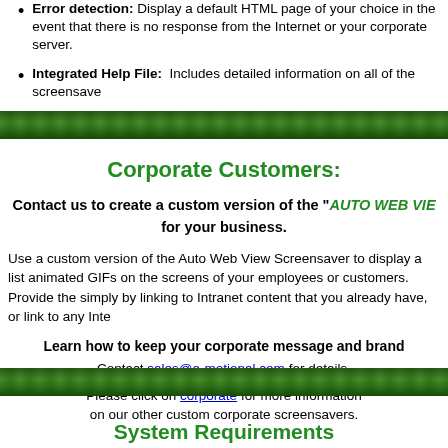Error detection: Display a default HTML page of your choice in the event that there is no response from the Internet or your corporate server.
Integrated Help File: Includes detailed information on all of the screensave
[Figure (illustration): Green textured decorative bar divider]
Corporate Customers:
Contact us to create a custom version of the "AUTO WEB VIE for your business.
Use a custom version of the Auto Web View Screensaver to display a list animated GIFs on the screens of your employees or customers. Provide the simply by linking to Intranet content that you already have, or link to any Inte
Learn how to keep your corporate message and brand Contact sales@e-motional.com for details.
Please click on corporate for more information on our other custom corporate screensavers.
[Figure (illustration): Green textured decorative bar divider]
System Requirements